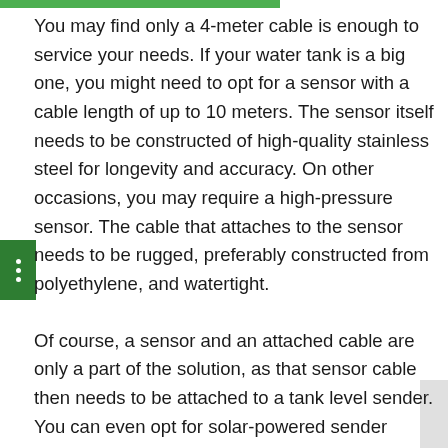You may find only a 4-meter cable is enough to service your needs. If your water tank is a big one, you might need to opt for a sensor with a cable length of up to 10 meters. The sensor itself needs to be constructed of high-quality stainless steel for longevity and accuracy. On other occasions, you may require a high-pressure sensor. The cable that attaches to the sensor needs to be rugged, preferably constructed from polyethylene, and watertight.
Of course, a sensor and an attached cable are only a part of the solution, as that sensor cable then needs to be attached to a tank level sender. You can even opt for solar-powered sender systems for convenience and saving on electricity. Often, you'll